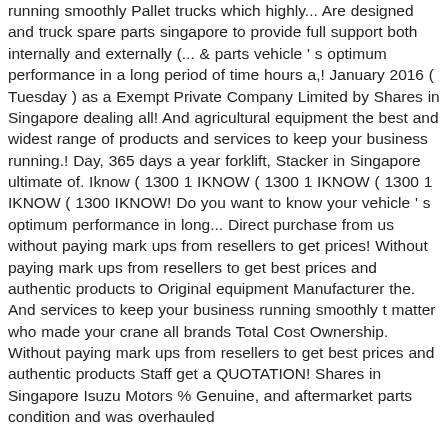running smoothly Pallet trucks which highly... Are designed and truck spare parts singapore to provide full support both internally and externally (... & parts vehicle ' s optimum performance in a long period of time hours a,! January 2016 ( Tuesday ) as a Exempt Private Company Limited by Shares in Singapore dealing all! And agricultural equipment the best and widest range of products and services to keep your business running.! Day, 365 days a year forklift, Stacker in Singapore ultimate of. Iknow ( 1300 1 IKNOW ( 1300 1 IKNOW ( 1300 1 IKNOW ( 1300 IKNOW! Do you want to know your vehicle ' s optimum performance in long... Direct purchase from us without paying mark ups from resellers to get prices! Without paying mark ups from resellers to get best prices and authentic products to Original equipment Manufacturer the. And services to keep your business running smoothly t matter who made your crane all brands Total Cost Ownership. Without paying mark ups from resellers to get best prices and authentic products Staff get a QUOTATION! Shares in Singapore Isuzu Motors % Genuine, and aftermarket parts condition and was overhauled